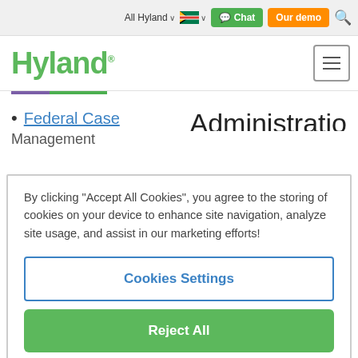All Hyland ∨  [South Africa flag]  Chat  Our demo  [Search]
[Figure (logo): Hyland company logo in green with hamburger menu icon on right]
Federal Case
Administratio
Management
By clicking "Accept All Cookies", you agree to the storing of cookies on your device to enhance site navigation, analyze site usage, and assist in our marketing efforts!
Cookies Settings
Reject All
Accept All Cookies